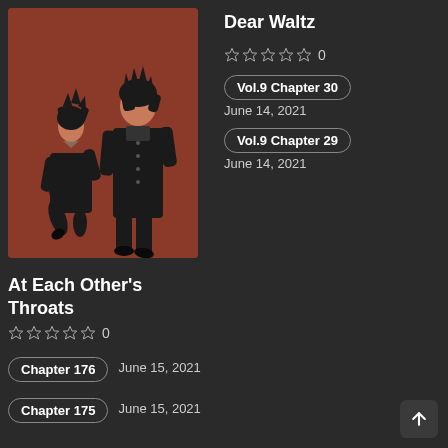[Figure (illustration): Manga cover art showing two anime-style characters in black outfits against a dark orange/rust background. A shorter female character on the left and a taller male character on the right.]
Dear Waltz
☆☆☆☆☆ 0
Vol.9 Chapter 30
June 14, 2021
Vol.9 Chapter 29
June 14, 2021
At Each Other's Throats
☆☆☆☆☆ 0
Chapter 176
June 15, 2021
Chapter 175
June 15, 2021